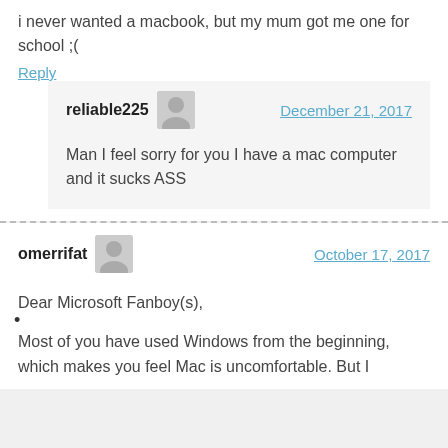i never wanted a macbook, but my mum got me one for school ;(
Reply
reliable225   December 21, 2017
Man I feel sorry for you I have a mac computer and it sucks ASS
omerrifat   October 17, 2017
Dear Microsoft Fanboy(s),
Most of you have used Windows from the beginning, which makes you feel Mac is uncomfortable. But I